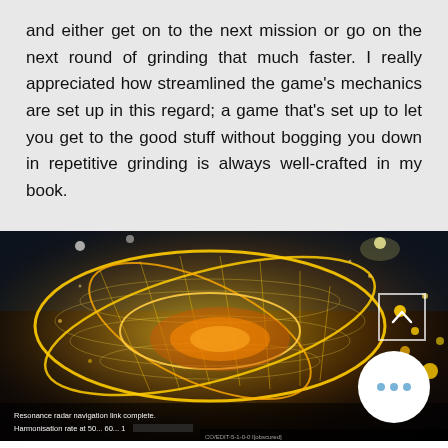and either get on to the next mission or go on the next round of grinding that much faster. I really appreciated how streamlined the game's mechanics are set up in this regard; a game that's set up to let you get to the good stuff without bogging you down in repetitive grinding is always well-crafted in my book.
[Figure (screenshot): Video game screenshot showing a character surrounded by glowing golden energy rings and grid-like structures in a dark arena. A subtitle at the bottom reads 'Resonance radar navigation link complete. Harmonisation rate at 50... 60... 1[obscured]'. A white scroll-up button is visible in the upper right, and a circular more options button with three blue dots is in the lower right.]